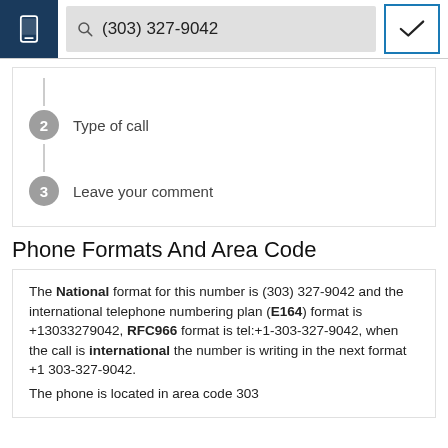[Figure (screenshot): Mobile browser top bar with phone icon, search field showing (303) 327-9042, and a checkmark button]
2  Type of call
3  Leave your comment
Phone Formats And Area Code
The National format for this number is (303) 327-9042 and the international telephone numbering plan (E164) format is +13033279042, RFC966 format is tel:+1-303-327-9042, when the call is international the number is writing in the next format +1 303-327-9042.
The phone is located in area code 303